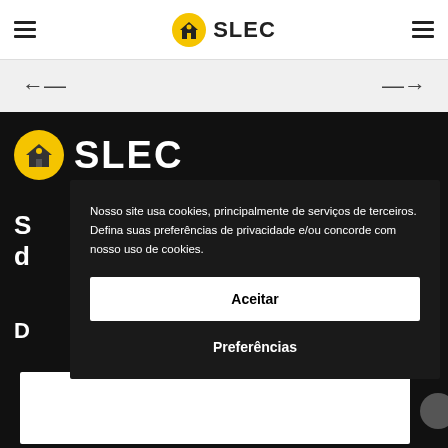SLEC
[Figure (screenshot): Navigation bar with left arrow and right arrow]
[Figure (logo): SLEC logo on black background — yellow circle with house icon and white bold text SLEC]
S
d
D
Nosso site usa cookies, principalmente de serviços de terceiros. Defina suas preferências de privacidade e/ou concorde com nosso uso de cookies.
Aceitar
Preferências